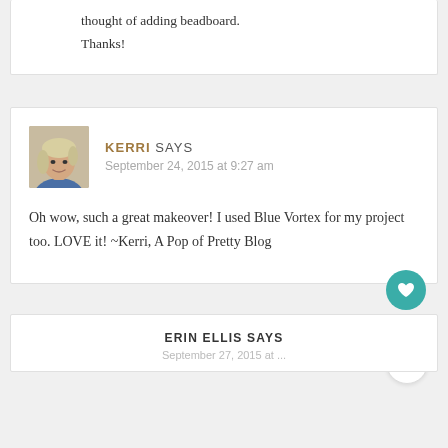thought of adding beadboard.

Thanks!
KERRI SAYS
September 24, 2015 at 9:27 am

Oh wow, such a great makeover! I used Blue Vortex for my project too. LOVE it! ~Kerri, A Pop of Pretty Blog
ERIN ELLIS SAYS